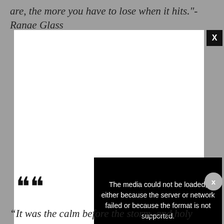are, the more you have to lose when it hits."- Ranae Glass
[Figure (screenshot): A white media player box with a black close button (X) in the top-right corner, overlaid by a black error panel reading 'The media could not be loaded, either because the server or network failed or because the format is not supported.' with a large X cross icon. A circular grey close button appears to the right of the panel.]
“It was the calm before the storm, and holy